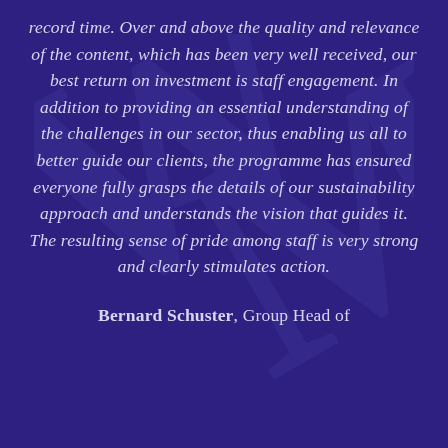record time. Over and above the quality and relevance of the content, which has been very well received, our best return on investment is staff engagement. In addition to providing an essential understanding of the challenges in our sector, thus enabling us all to better guide our clients, the programme has ensured everyone fully grasps the details of our sustainability approach and understands the vision that guides it. The resulting sense of pride among staff is very strong and clearly stimulates action.
Bernard Schuster, Group Head of